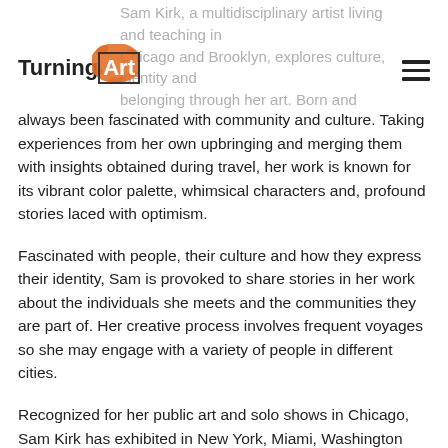TurningArt
always been fascinated with community and culture. Taking experiences from her own upbringing and merging them with insights obtained during travel, her work is known for its vibrant color palette, whimsical characters and, profound stories laced with optimism.
Fascinated with people, their culture and how they express their identity, Sam is provoked to share stories in her work about the individuals she meets and the communities they are part of. Her creative process involves frequent voyages so she may engage with a variety of people in different cities.
Recognized for her public art and solo shows in Chicago, Sam Kirk has exhibited in New York, Miami, Washington DC, and Minneapolis. She is currently the official Chicago Made SXSW 2015 Artist, recently won the Curator's Choice award at the Redbull Curates Chicago contest and, exhibited at Scope art fair in December 2014. She has been commissioned by